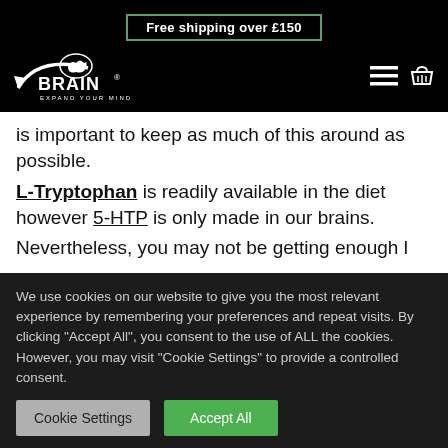Free shipping over £150
[Figure (logo): XBrain 'Expand Your Mind' logo in white on black background, with hamburger menu and basket icons]
is important to keep as much of this around as possible.
L-Tryptophan is readily available in the diet however 5-HTP is only made in our brains.
Nevertheless, you may not be getting enough l
We use cookies on our website to give you the most relevant experience by remembering your preferences and repeat visits. By clicking "Accept All", you consent to the use of ALL the cookies. However, you may visit "Cookie Settings" to provide a controlled consent.